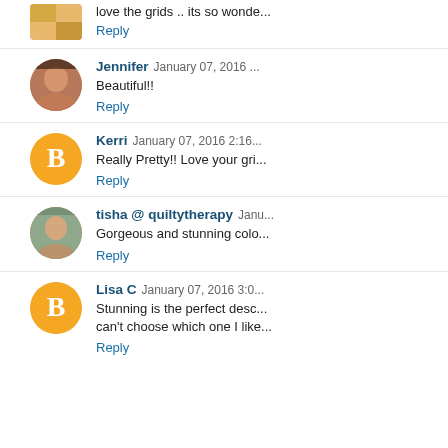love the grids .. its so wonde...
Reply
Jennifer January 07, 2016 ...
Beautiful!!
Reply
Kerri January 07, 2016 2:16...
Really Pretty!! Love your gri...
Reply
tisha @ quiltytherapy Janu...
Gorgeous and stunning colo...
Reply
Lisa C January 07, 2016 3:0...
Stunning is the perfect desc... can't choose which one I like...
Reply